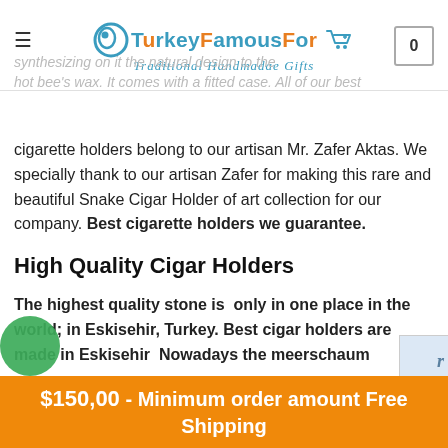TurkeyFamousFor Traditional Handmadae Gifts
synthesizing on it the natural design to the hot bee's wax. It comes with a fitted case. All of our best
cigarette holders belong to our artisan Mr. Zafer Aktas. We specially thank to our artisan Zafer for making this rare and beautiful Snake Cigar Holder of art collection for our company. Best cigarette holders we guarantee.
High Quality Cigar Holders
The highest quality stone is only in one place in the world; in Eskisehir, Turkey. Best cigar holders are made in Eskisehir Nowadays the meerschaum reserves are rapidly decreased and it is hard to find high quality block of meerschaum.. The process of getting those blocks are really difficult and dangerous. Getting them is not e
$150,00 - Minimum order amount Free Shipping